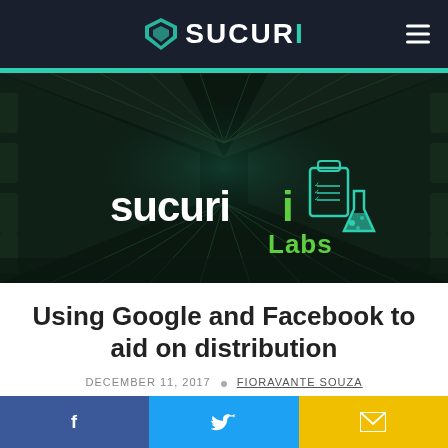SUCURI
[Figure (photo): Sucuri Labs hero image showing a dark sci-fi corridor with green tinted lighting and the Sucuri Labs logo overlaid in white and green text]
Using Google and Facebook to aid on distribution
DECEMBER 11, 2017 · FIORAVANTE SOUZA
[Figure (infographic): Social share buttons: Facebook (blue), Twitter (cyan), Email (yellow)]